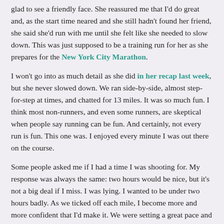glad to see a friendly face. She reassured me that I'd do great and, as the start time neared and she still hadn't found her friend, she said she'd run with me until she felt like she needed to slow down. This was just supposed to be a training run for her as she prepares for the New York City Marathon.
I won't go into as much detail as she did in her recap last week, but she never slowed down. We ran side-by-side, almost step-for-step at times, and chatted for 13 miles. It was so much fun. I think most non-runners, and even some runners, are skeptical when people say running can be fun. And certainly, not every run is fun. This one was. I enjoyed every minute I was out there on the course.
Some people asked me if I had a time I was shooting for. My response was always the same: two hours would be nice, but it's not a big deal if I miss. I was lying. I wanted to be under two hours badly. As we ticked off each mile, I become more and more confident that I'd make it. We were setting a great pace and felt comfortable doing it.
Also as the miles went past, I became more confident that Vic was going to keep up with me the entire way. At some point I asked her what her PR was...